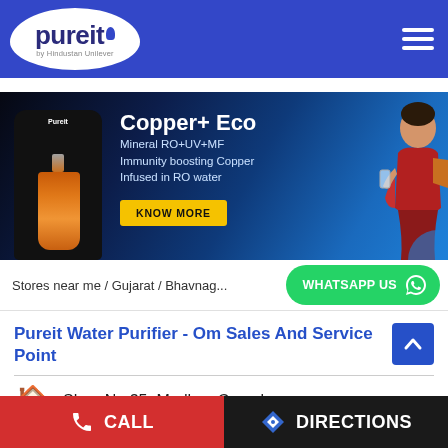[Figure (logo): Pureit by Hindustan Unilever logo in white teardrop shape on blue navigation bar]
[Figure (photo): Pureit Copper+ Eco water purifier product banner with black purifier unit, copper jug, text 'Copper+ Eco Mineral RO+UV+MF Immunity boosting Copper Infused in RO water', yellow KNOW MORE button, and woman in red saree on blue background]
Stores near me / Gujarat / Bhavnag...
[Figure (other): Green WhatsApp Us button with WhatsApp icon]
Pureit Water Purifier - Om Sales And Service Point
Shop No 35, Madhav Complex
CALL
DIRECTIONS